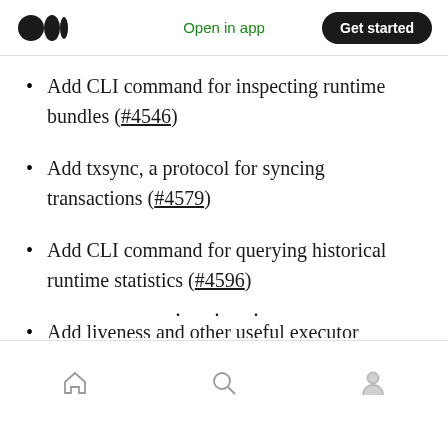Medium app header — Open in app | Get started
Add CLI command for inspecting runtime bundles (#4546)
Add txsync, a protocol for syncing transactions (#4579)
Add CLI command for querying historical runtime statistics (#4596)
Add liveness and other useful executor Prometheus metrics (#4610)
Bottom navigation bar with home, search, and profile icons